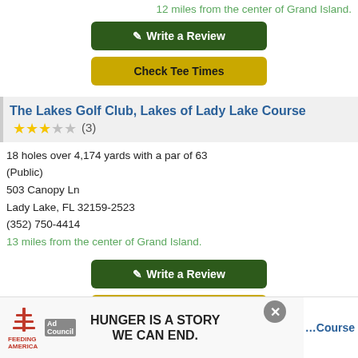12 miles from the center of Grand Island.
Write a Review
Check Tee Times
The Lakes Golf Club, Lakes of Lady Lake Course ★★★☆☆ (3)
18 holes over 4,174 yards with a par of 63 (Public)
503 Canopy Ln
Lady Lake, FL 32159-2523
(352) 750-4414
13 miles from the center of Grand Island.
Write a Review
Check Tee Times
[Figure (infographic): Feeding America advertisement banner with 'HUNGER IS A STORY WE CAN END.' text and Ad Council badge]